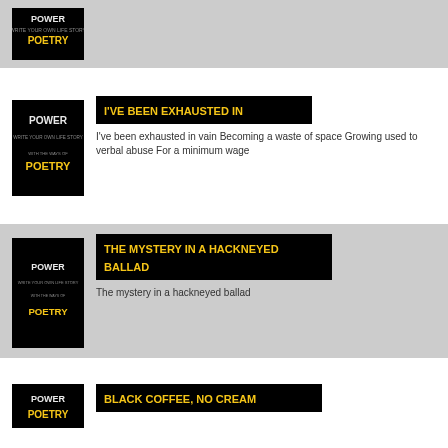[Figure (illustration): Power Poetry thumbnail - black background with POWER POETRY logo in white/yellow typography]
[Figure (illustration): Power Poetry thumbnail - black background with POWER POETRY logo in white/yellow typography]
I'VE BEEN EXHAUSTED IN
I've been exhausted in vain Becoming a waste of space Growing used to verbal abuse For a minimum wage
[Figure (illustration): Power Poetry thumbnail - black background with POWER POETRY logo in white/yellow typography]
THE MYSTERY IN A HACKNEYED BALLAD
The mystery in a hackneyed ballad
[Figure (illustration): Power Poetry thumbnail - black background with POWER POETRY logo in white/yellow typography]
BLACK COFFEE, NO CREAM